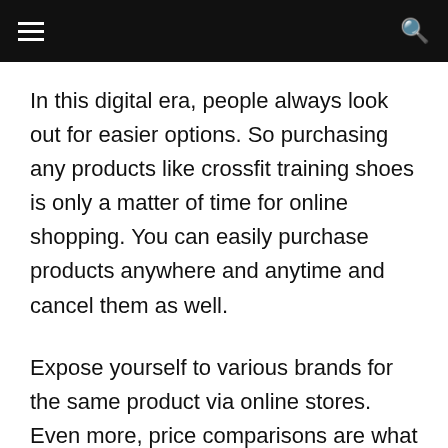In this digital era, people always look out for easier options. So purchasing any products like crossfit training shoes is only a matter of time for online shopping. You can easily purchase products anywhere and anytime and cancel them as well.
Expose yourself to various brands for the same product via online stores. Even more, price comparisons are what buyers enjoy on these platforms. With just a few clicks, you can navigate through the product pages and spend